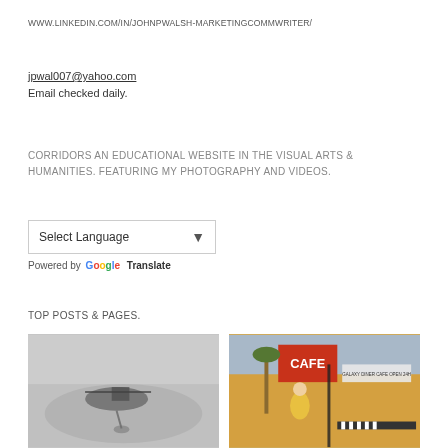WWW.LINKEDIN.COM/IN/JOHNPWALSH-MARKETINGCOMMWRITER/
jpwal007@yahoo.com
Email checked daily.
CORRIDORS AN EDUCATIONAL WEBSITE IN THE VISUAL ARTS & HUMANITIES. FEATURING MY PHOTOGRAPHY AND VIDEOS.
[Figure (other): Select Language dropdown widget with Google Translate branding]
TOP POSTS & PAGES.
[Figure (photo): Black and white photo of a helicopter in foggy/dusty conditions]
[Figure (photo): Color photo of a cafe with yellow building, sign reading CAFE, woman in yellow top, overcast sky]